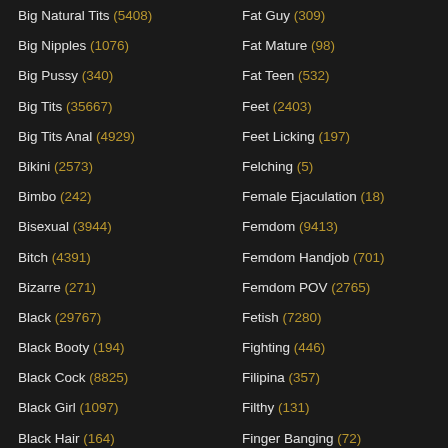Big Natural Tits (5408)
Fat Guy (309)
Big Nipples (1076)
Fat Mature (98)
Big Pussy (340)
Fat Teen (532)
Big Tits (35667)
Feet (2403)
Big Tits Anal (4929)
Feet Licking (197)
Bikini (2573)
Felching (5)
Bimbo (242)
Female Ejaculation (18)
Bisexual (3944)
Femdom (9413)
Bitch (4391)
Femdom Handjob (701)
Bizarre (271)
Femdom POV (2765)
Black (29767)
Fetish (7280)
Black Booty (194)
Fighting (446)
Black Cock (8825)
Filipina (357)
Black Girl (1097)
Filthy (131)
Black Hair (164)
Finger Banging (72)
Black Shemale (111)
Fingering (9013)